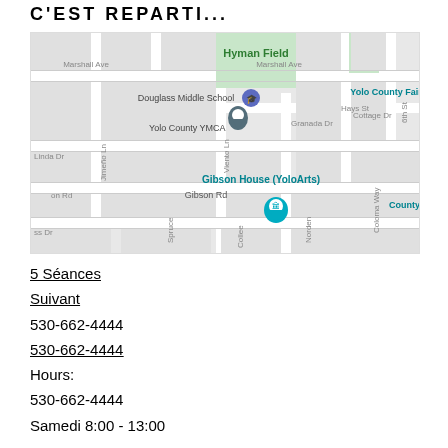C'EST REPARTI...
[Figure (map): Google Maps view showing Yolo County YMCA area with Douglass Middle School, Hyman Field, Gibson House (YoloArts), Yolo County Fair, and surrounding streets including Marshall Ave, Granada Dr, Gibson Rd, Viento Ln, Coloma Way, and others.]
5 Séances
Suivant
530-662-4444
530-662-4444
Hours:
530-662-4444
Samedi 8:00 - 13:00